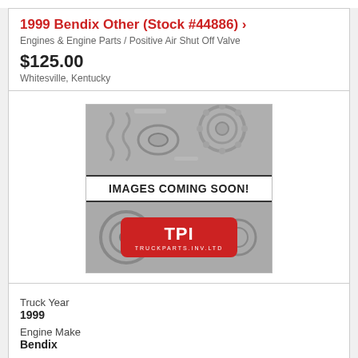1999 Bendix Other (Stock #44886) ›
Engines & Engine Parts / Positive Air Shut Off Valve
$125.00
Whitesville, Kentucky
[Figure (photo): Placeholder image showing engine parts with TPI logo and 'IMAGES COMING SOON!' text]
Truck Year
1999
Engine Make
Bendix
Engine Model
Other
Truck Make
Freightliner